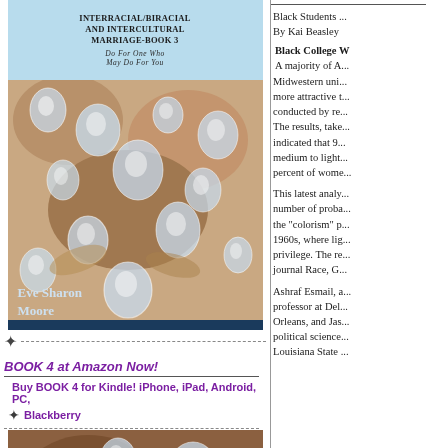[Figure (photo): Book cover for interracial/intercultural marriage book 3 by Eve Sharon Moore, with water droplets imagery and dark blue lower half]
BOOK 4 at Amazon Now!
Buy BOOK 4 for Kindle! iPhone, iPad, Android, PC,
Blackberry
[Figure (photo): Close-up photo of water droplets on skin/fingers, with 'LIVING' text visible at bottom, book cover image]
Black Students ...By Kai Beasley
Black College W
A majority of A... Midwestern uni... more attractive t... conducted by re... The results, take... indicated that 9... medium to light... percent of wome...
This latest analy... number of proba... the "colorism" p... 1960s, where lig... privilege. The re... journal Race, G...
Ashraf Esmail, a... professor at Del... Orleans, and Jas... political science... Louisiana State ...